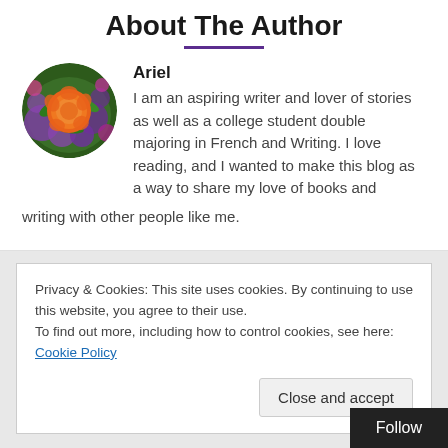About The Author
[Figure (photo): Circular author profile photo showing colorful flowers — orange roses and purple blooms.]
Ariel
I am an aspiring writer and lover of stories as well as a college student double majoring in French and Writing. I love reading, and I wanted to make this blog as a way to share my love of books and writing with other people like me.
Privacy & Cookies: This site uses cookies. By continuing to use this website, you agree to their use.
To find out more, including how to control cookies, see here: Cookie Policy